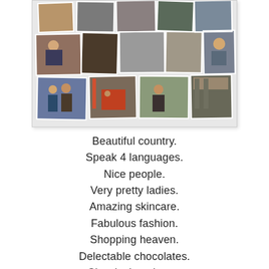[Figure (photo): A collage of travel photos showing people, architecture, city streets, markets, and scenic views]
Beautiful country.
Speak 4 languages.
Nice people.
Very pretty ladies.
Amazing skincare.
Fabulous fashion.
Shopping heaven.
Delectable chocolates.
Classic timepieces.
Awesome weather.
Great coffees.
Breathtaking sceneries.